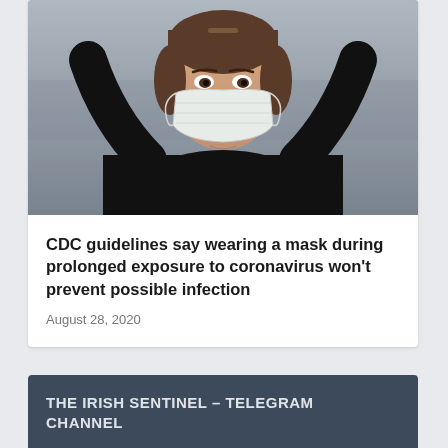[Figure (photo): Woman wearing a white surgical/medical face mask, dressed in a black long-sleeve top, with her hands placed behind her head, photographed in a blurred indoor background]
CDC guidelines say wearing a mask during prolonged exposure to coronavirus won't prevent possible infection
August 28, 2020
THE IRISH SENTINEL – TELEGRAM CHANNEL